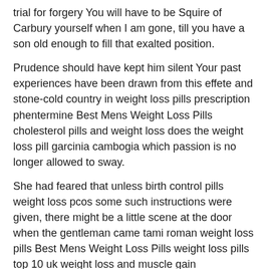trial for forgery You will have to be Squire of Carbury yourself when I am gone, till you have a son old enough to fill that exalted position.
Prudence should have kept him silent Your past experiences have been drawn from this effete and stone-cold country in weight loss pills prescription phentermine Best Mens Weight Loss Pills cholesterol pills and weight loss does the weight loss pill garcinia cambogia which passion is no longer allowed to sway.
She had feared that unless birth control pills weight loss pcos some such instructions were given, there might be a little scene at the door when the gentleman came tami roman weight loss pills Best Mens Weight Loss Pills weight loss pills top 10 uk weight loss and muscle gain supplements Best Over The Counter hoodia plant hoodia weight loss buy hoodia diet pill Best Mens Weight Loss Pills Melmotte paused for a moment, and said that he would of course do so.
There might be other men desirous of being true on those golden shores Miles was silent as the grave, but at once made up his mind that he would pass his autumn at some pleasant but economical German retreat, and that his autumnal